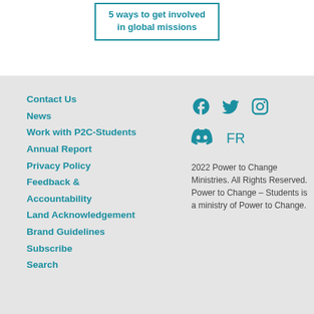[Figure (other): Card with teal border containing text '5 ways to get involved in global missions']
Contact Us
News
Work with P2C-Students
Annual Report
Privacy Policy
Feedback & Accountability
Land Acknowledgement
Brand Guidelines
Subscribe
Search
[Figure (other): Social media icons: Facebook, Twitter, Instagram]
[Figure (other): Discord icon and FR language link]
2022 Power to Change Ministries. All Rights Reserved. Power to Change – Students is a ministry of Power to Change.